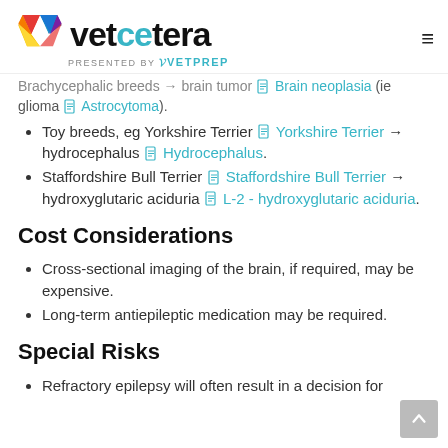[Figure (logo): Vetcetera logo with colorful V icon and text 'vetcetera PRESENTED BY VetPrep' and hamburger menu icon]
Brachycephalic breeds → brain tumor Brain neoplasia (ie glioma Astrocytoma).
Toy breeds, eg Yorkshire Terrier Yorkshire Terrier → hydrocephalus Hydrocephalus.
Staffordshire Bull Terrier Staffordshire Bull Terrier → hydroxyglutaric aciduria L-2 - hydroxyglutaric aciduria.
Cost Considerations
Cross-sectional imaging of the brain, if required, may be expensive.
Long-term antiepileptic medication may be required.
Special Risks
Refractory epilepsy will often result in a decision for